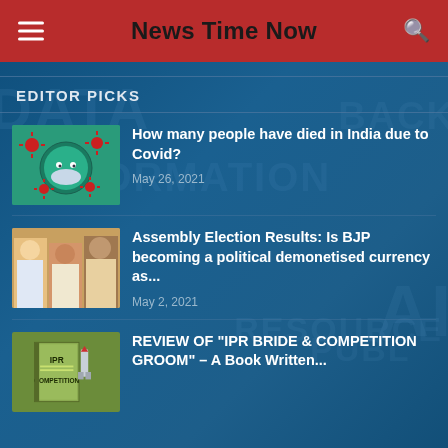News Time Now
EDITOR PICKS
[Figure (screenshot): Thumbnail: globe with covid mask and red virus particles on teal background]
How many people have died in India due to Covid?
May 26, 2021
[Figure (photo): Three politicians side by side photo]
Assembly Election Results: Is BJP becoming a political demonetised currency as...
May 2, 2021
[Figure (illustration): Book cover: IPR Bride & Competition with olive green background]
REVIEW OF "IPR BRIDE & COMPETITION GROOM" – A Book Written...